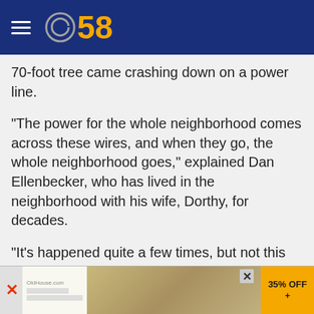CBS 58
70-foot tree came crashing down on a power line.
"The power for the whole neighborhood comes across these wires, and when they go, the whole neighborhood goes," explained Dan Ellenbecker, who has lived in the neighborhood with his wife, Dorthy, for decades.
"It's happened quite a few times, but not this bad," added Dorothy.
Both say they are grateful to the tree removal and electric crews for braving the heat to help clean up the mess and get the power turned back on.
"So grateful for 100%," Dorothy said. "They are the...
[Figure (screenshot): Advertisement banner at bottom of page showing a food image with '35% OFF +' offer text]